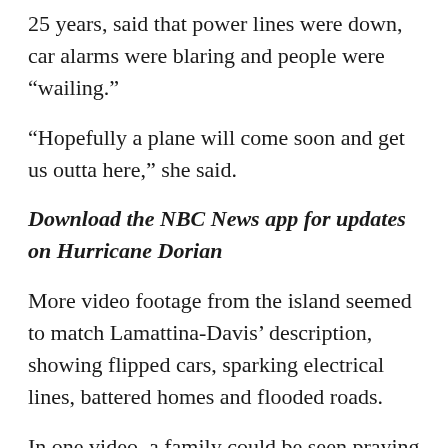25 years, said that power lines were down, car alarms were blaring and people were “wailing.”
“Hopefully a plane will come soon and get us outta here,” she said.
Download the NBC News app for updates on Hurricane Dorian
More video footage from the island seemed to match Lamattina-Davis’ description, showing flipped cars, sparking electrical lines, battered homes and flooded roads.
In one video, a family could be seen praying in a bathroom. In another, an entire neighborhood appears to have been swallowed by water. The